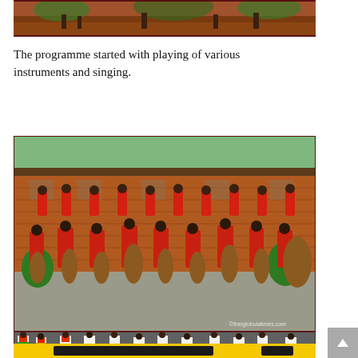[Figure (photo): Outdoor scene with people, trees and red-brick structures in a strip/panoramic format at the top of the page]
The programme started with playing of various instruments and singing.
[Figure (photo): Large group photo of performers in red traditional African costumes playing drums and dancing in front of a brick wall, with some performers in white costumes on a raised platform behind them. Watermark reads theiglobulatimes.com]
[Figure (photo): Strip of dancers wearing colorful green, yellow, red and white traditional costumes, performing]
[Figure (photo): Partial yellow banner with dark content at the bottom of the page]